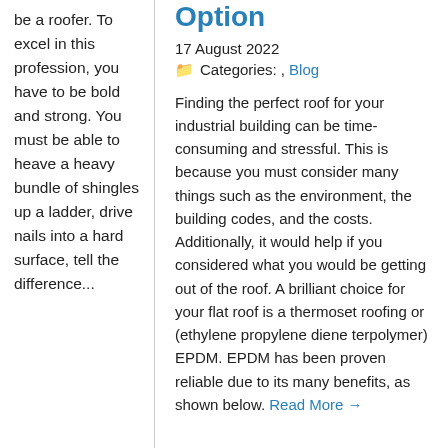be a roofer. To excel in this profession, you have to be bold and strong. You must be able to heave a heavy bundle of shingles up a ladder, drive nails into a hard surface, tell the difference...
Option
17 August 2022
Categories: , Blog
Finding the perfect roof for your industrial building can be time-consuming and stressful. This is because you must consider many things such as the environment, the building codes, and the costs. Additionally, it would help if you considered what you would be getting out of the roof. A brilliant choice for your flat roof is a thermoset roofing or (ethylene propylene diene terpolymer) EPDM. EPDM has been proven reliable due to its many benefits, as shown below. Read More →